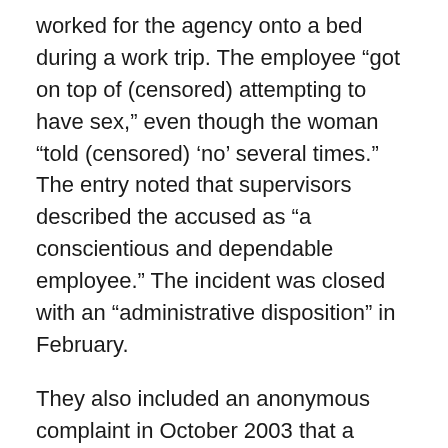worked for the agency onto a bed during a work trip. The employee “got on top of (censored) attempting to have sex,” even though the woman “told (censored) ‘no’ several times.” The entry noted that supervisors described the accused as “a conscientious and dependable employee.” The incident was closed with an “administrative disposition” in February.
They also included an anonymous complaint in October 2003 that a Secret Service agent “may have been involved with a prostitution ring,” noting that two telephone numbers belonging to the agent, whose name was censored and who has since retired, turned up as part of an FBI investigation into a prostitution ring. In 2005, an employee was reported to the Washington field office for being arrested on a charge of solicitation in a park. Documents